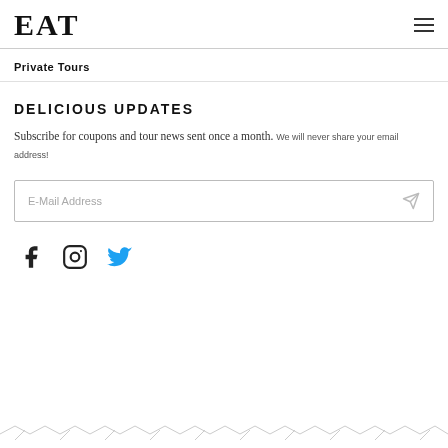EAT
Private Tours
DELICIOUS UPDATES
Subscribe for coupons and tour news sent once a month. We will never share your email address!
[Figure (screenshot): Email address input field with placeholder text 'E-Mail Address' and a send arrow icon on the right]
[Figure (infographic): Social media icons: Facebook (f), Instagram (camera), Twitter (bird) in blue/dark color]